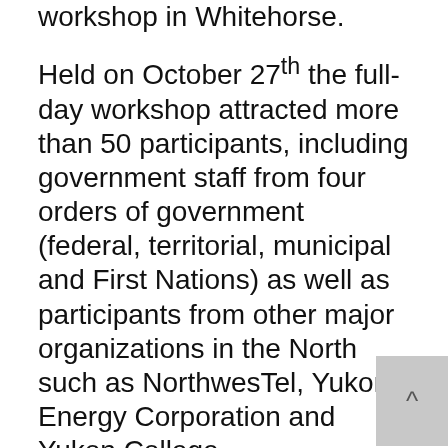workshop in Whitehorse.
Held on October 27th the full-day workshop attracted more than 50 participants, including government staff from four orders of government (federal, territorial, municipal and First Nations) as well as participants from other major organizations in the North such as NorthwesTel, Yukon Energy Corporation and Yukon College.
With a focus on increasing support and skills for green and sustainable purchasing, as well as catalyzing a network between various levels of